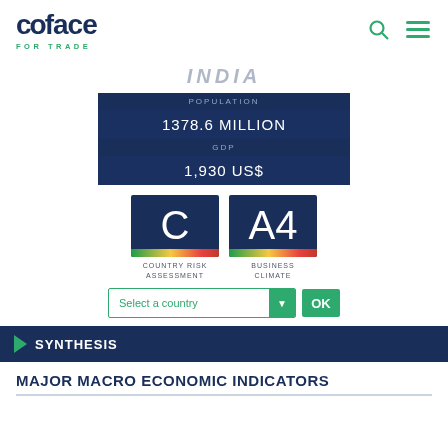[Figure (logo): Coface logo with 'FOR TRADE' subtitle, search and menu icons]
INDIA
| POPULATION | 1378.6 MILLION |
| GDP | 1,930 US$ |
[Figure (infographic): Country Risk Assessment rating box showing 'C' with color bar]
[Figure (infographic): Business Climate rating box showing 'A4' with color bar]
COUNTRY RISK ASSESSMENT
BUSINESS CLIMATE
Select a country
SYNTHESIS
MAJOR MACRO ECONOMIC INDICATORS